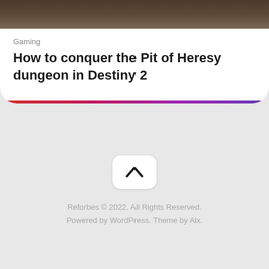[Figure (photo): Partial top image of a dark outdoor scene, cropped at the top of the page]
Gaming
How to conquer the Pit of Heresy dungeon in Destiny 2
[Figure (other): Back to top button with chevron up arrow icon]
Reforbes © 2022. All Rights Reserved. Powered by WordPress. Theme by Alx.